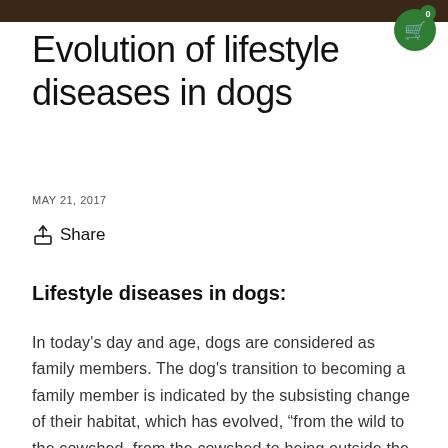Evolution of lifestyle diseases in dogs
MAY 21, 2017
Share
Lifestyle diseases in dogs:
In today's day and age, dogs are considered as family members. The dog's transition to becoming a family member is indicated by the subsisting change of their habitat, which has evolved, “from the wild to the cowshed, from the cowshed to being outside the main door of our house, then from being outside of the main door to the living room, from the living